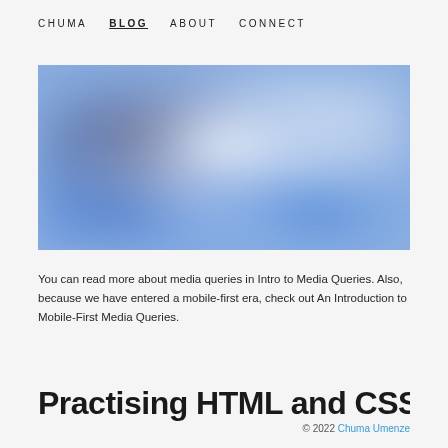CHUMA  BLOG  ABOUT  CONNECT
[Figure (illustration): Abstract blurred gradient image with blue, grey, and white tones blending together, resembling a soft atmospheric or digital art piece.]
You can read more about media queries in Intro to Media Queries. Also, because we have entered a mobile-first era, check out An Introduction to Mobile-First Media Queries.
Practising HTML and CSS
© 2022 Chuma Umenze